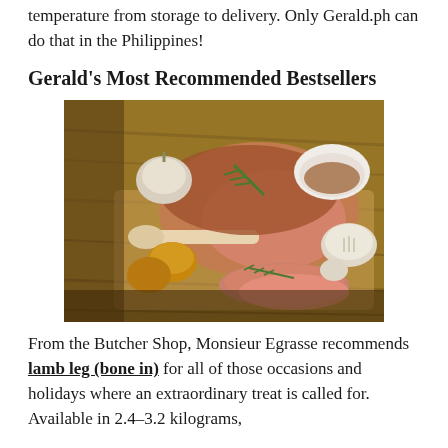temperature from storage to delivery. Only Gerald.ph can do that in the Philippines!
Gerald's Most Recommended Bestsellers
[Figure (photo): A roasted lamb leg with bone placed on a wooden cutting board, surrounded by garlic bulbs, roasted onions, rosemary sprigs, and a white bowl of sauce.]
From the Butcher Shop, Monsieur Egrasse recommends lamb leg (bone in) for all of those occasions and holidays where an extraordinary treat is called for. Available in 2.4–3.2 kilograms,